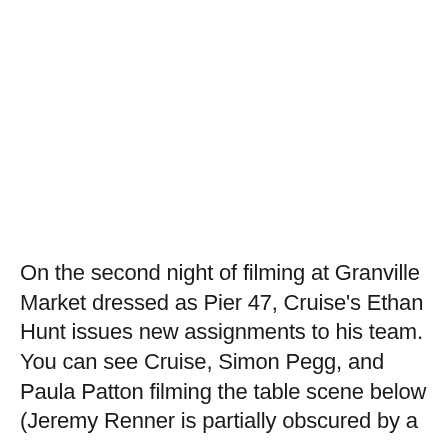On the second night of filming at Granville Market dressed as Pier 47, Cruise's Ethan Hunt issues new assignments to his team. You can see Cruise, Simon Pegg, and Paula Patton filming the table scene below (Jeremy Renner is partially obscured by a